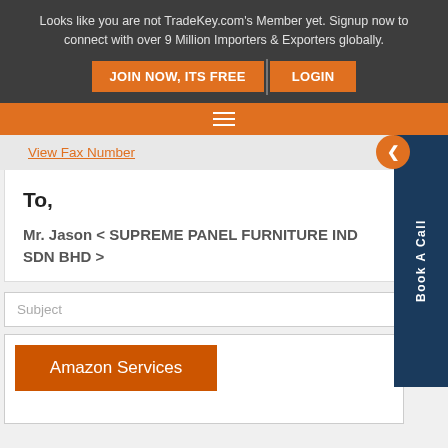Looks like you are not TradeKey.com's Member yet. Signup now to connect with over 9 Million Importers & Exporters globally.
JOIN NOW, ITS FREE
LOGIN
View Fax Number
To,
Mr. Jason < SUPREME PANEL FURNITURE IND SDN BHD >
Subject
Amazon Services